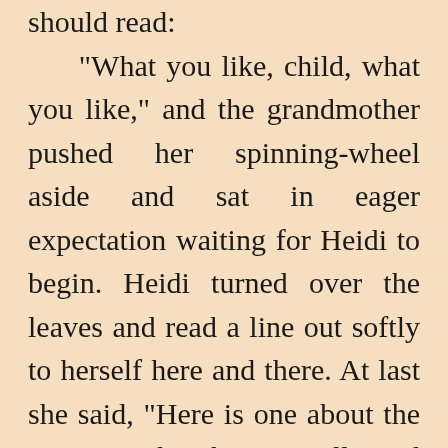should read: "What you like, child, what you like," and the grandmother pushed her spinning-wheel aside and sat in eager expectation waiting for Heidi to begin. Heidi turned over the leaves and read a line out softly to herself here and there. At last she said, "Here is one about the sun, grandmother, I will read you that." And Heidi began, reading with more and